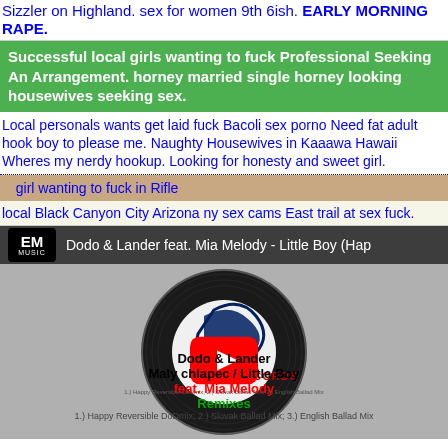Sizzler on Highland. sex for women 9th 6ish. EARLY MORNING RAPE.
Successful local girls wanting to fuck Professional Seeking An Arrangement. horney married single horney looking housewives seeking sex.
Local personals wants get laid fuck Bacoli sex porno Need fat adult hook boy to please me. Naughty Housewives in Kaaawa Hawaii Wheres my nerdy hookup. Looking for honesty and sweet girl.
girl wanting to fuck in Rifle
local Black Canyon City Arizona ny sex cams East trail at sex fuck.
[Figure (screenshot): YouTube video thumbnail for Dodo & Lander feat. Mia Melody - Little Boy (Happy Reversible DoDmix). Shows EM Music logo, video title bar, vinyl record with D&L Records label, and YouTube play button overlay. Record label text: Dodo & Lander, Maly chlapec / Little Boy, feat. Mia Melody, Remixes. Track listing: 1.) Happy Reversible DoDmix; 2.) Slovak Ballad Mix; 3.) English Ballad Mix.]